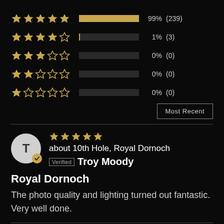[Figure (infographic): Star rating breakdown: 5 stars 99% (239), 4 stars 1% (3), 3 stars 0% (0), 2 stars 0% (0), 1 star 0% (0)]
Most Recent
[Figure (infographic): User avatar circle with letter T and verified checkmark badge, five gold stars, text: about 10th Hole, Royal Dornoch. Verified tag. Troy Moody.]
Royal Dornoch
The photo quality and lighting turned out fantastic. Very well done.